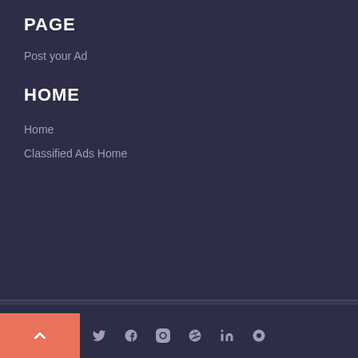PAGE
Post your Ad
HOME
Home
Classified Ads Home
The Global Filipino Magazine Classified Ads | All Copyrights reserved @2021
[Figure (other): Social media icons: Facebook, Twitter, Google+, Pinterest, Instagram, LinkedIn, Dribbble, RSS feed]
[Figure (other): Back to top button with upward chevron arrow on coral/salmon colored square]